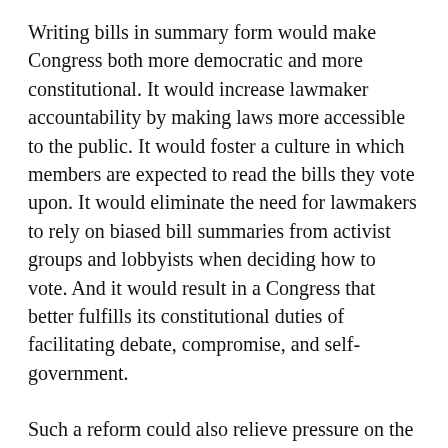Writing bills in summary form would make Congress both more democratic and more constitutional. It would increase lawmaker accountability by making laws more accessible to the public. It would foster a culture in which members are expected to read the bills they vote upon. It would eliminate the need for lawmakers to rely on biased bill summaries from activist groups and lobbyists when deciding how to vote. And it would result in a Congress that better fulfills its constitutional duties of facilitating debate, compromise, and self-government.
Such a reform could also relieve pressure on the judiciary, which has supplanted Congress as the place where Americans resolve their most pressing debates. Laws written in plain language could never remove all ambiguity from legislation, but they could minimize how often courts are asked to resolve hot-button political disputes couched as questions of statutory